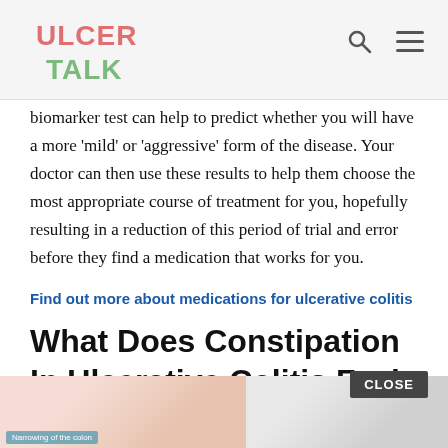ULCER TALK
biomarker test can help to predict whether you will have a more ‘mild’ or ‘aggressive’ form of the disease. Your doctor can then use these results to help them choose the most appropriate course of treatment for you, hopefully resulting in a reduction of this period of trial and error before they find a medication that works for you.
Find out more about medications for ulcerative colitis
What Does Constipation In Ulcerative Colitis Feel Like
[Figure (photo): Medical illustration showing the colon/intestine anatomy on the left panel and a clinical setting image on the right panel, with a 'Narrowing of the colon' label and a CLOSE button overlay]